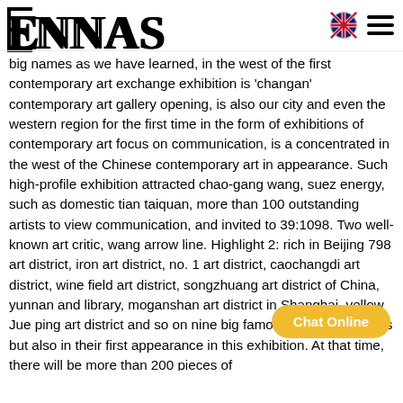[Figure (logo): ENNAS logo with stylized E bracket and sans-serif NNAS lettering]
[Figure (illustration): UK flag globe icon and hamburger menu icon in top right]
big names as we have learned, in the west of the first contemporary art exchange exhibition is 'changan' contemporary art gallery opening, is also our city and even the western region for the first time in the form of exhibitions of contemporary art focus on communication, is a concentrated in the west of the Chinese contemporary art in appearance. Such high-profile exhibition attracted chao-gang wang, suez energy, such as domestic tian taiquan, more than 100 outstanding artists to view communication, and invited to 39:1098. Two well-known art critic, wang arrow line. Highlight 2: rich in Beijing 798 art district, iron art district, no. 1 art district, caochangdi art district, wine field art district, songzhuang art district of China, yunnan and library, moganshan art district in Shanghai, yellow Jue ping art district and so on nine big famous art organizations but also in their first appearance in this exhibition. At that time, there will be more than 200 pieces of
[Figure (other): Chat Online button in gold/yellow rounded rectangle]